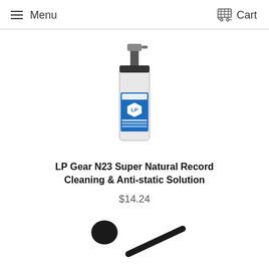Menu  Cart
[Figure (photo): LP Gear N23 spray bottle with blue label and pump dispenser]
LP Gear N23 Super Natural Record Cleaning & Anti-static Solution
$14.24
[Figure (photo): Black stylus cleaning tool with round head on a long handle]